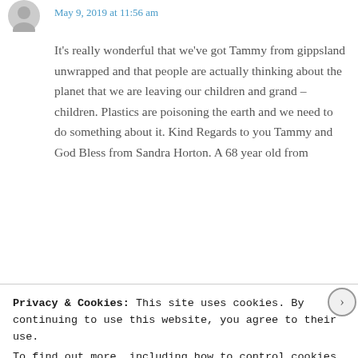May 9, 2019 at 11:56 am
It’s really wonderful that we’ve got Tammy from gippsland unwrapped and that people are actually thinking about the planet that we are leaving our children and grand – children. Plastics are poisoning the earth and we need to do something about it. Kind Regards to you Tammy and God Bless from Sandra Horton. A 68 year old from
Privacy & Cookies: This site uses cookies. By continuing to use this website, you agree to their use.
To find out more, including how to control cookies, see here: Cookie Policy
CLOSE AND ACCEPT